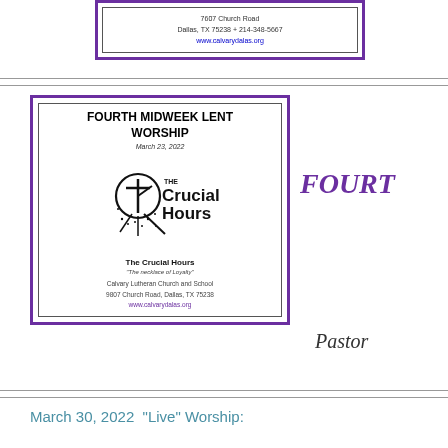[Figure (other): Top card with church address info: 7607 Church Road, Dallas, TX 75238 + 214-348-5667, www.calvarydalas.org, bordered with purple outer frame and inner gray frame]
[Figure (other): Fourth Midweek Lent Worship bulletin cover card, March 23, 2022, The Crucial Hours logo with clock and cross, subtitle 'The necklace of Loyalty', Calvary Lutheran Church and School, 9807 Church Road, Dallas TX 75238, www.calvarydalas.org, bordered purple outer frame, inner gray frame]
FOURT
Pastor
March 30, 2022  "Live" Worship: